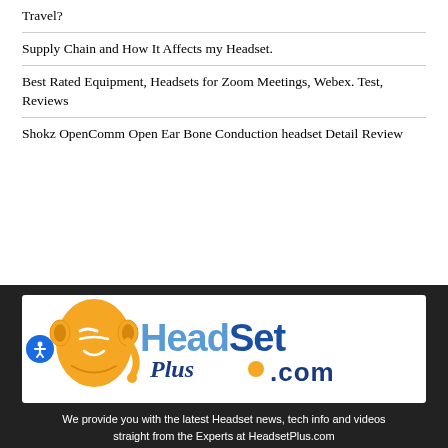Travel?
Supply Chain and How It Affects my Headset.
Best Rated Equipment, Headsets for Zoom Meetings, Webex. Test, Reviews
Shokz OpenComm Open Ear Bone Conduction headset Detail Review
[Figure (logo): HeadsetPlus.com logo featuring an orange illustrated face with headset and blue/navy text reading HeadSetPlus.com]
We provide you with the latest Headset news, tech info and videos straight from the Experts at HeadsetPlus.com